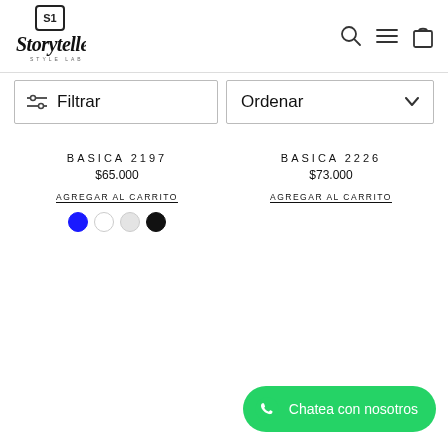[Figure (logo): Storyteller Style Lab logo with handwritten script font and small boxed icon above]
[Figure (other): Navigation icons: search (magnifying glass), menu (hamburger), cart (shopping bag)]
Filtrar
Ordenar
BASICA 2197
$65.000
AGREGAR AL CARRITO
[Figure (other): Color swatches: blue (selected), white, light gray, black]
BASICA 2226
$73.000
AGREGAR AL CARRITO
Chatea con nosotros